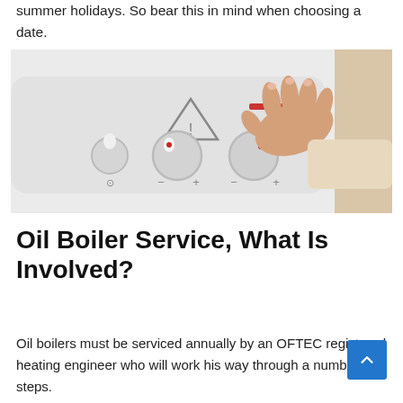summer holidays. So bear this in mind when choosing a date.
[Figure (photo): A person's hand turning a dial/knob on a white oil boiler control panel. The panel shows control dials and indicator lights.]
Oil Boiler Service, What Is Involved?
Oil boilers must be serviced annually by an OFTEC registered heating engineer who will work his way through a number of steps.